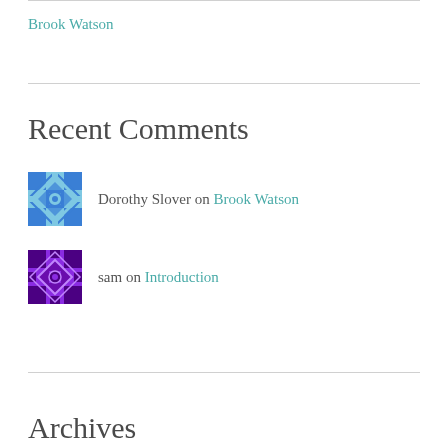Brook Watson
Recent Comments
Dorothy Slover on Brook Watson
sam on Introduction
Archives